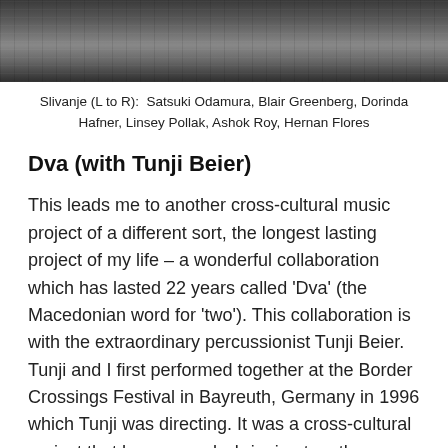[Figure (photo): Black and white photo strip showing members of Slivanje band]
Slivanje (L to R):  Satsuki Odamura, Blair Greenberg, Dorinda Hafner, Linsey Pollak, Ashok Roy, Hernan Flores
Dva (with Tunji Beier)
This leads me to another cross-cultural music project of a different sort, the longest lasting project of my life – a wonderful collaboration which has lasted 22 years called ‘Dva’ (the Macedonian word for ‘two’). This collaboration is with the extraordinary percussionist Tunji Beier. Tunji and I first performed together at the Border Crossings Festival in Bayreuth, Germany in 1996 which Tunji was directing. It was a cross-cultural project that he ran yearly, bringing together musicians from diverse cultural background from around the world to live and rehearse together for a week before performing the Bayreuth Opera House. Not long after that moved back to Australia and we started playing